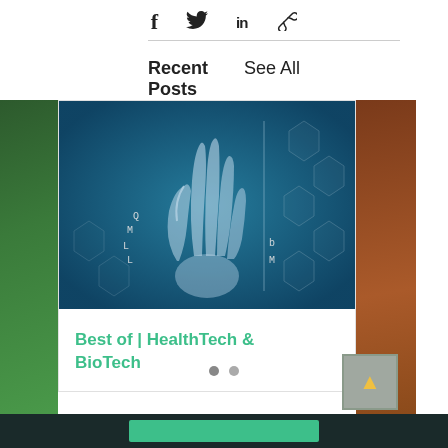[Figure (infographic): Social media share icons: Facebook (f), Twitter (bird), LinkedIn (in), and link/chain icon]
Recent Posts
See All
[Figure (photo): X-ray or digital render of a human hand making an OK sign, overlaid with hexagonal molecular patterns on a teal/blue tech background. Small text labels 'Q', 'L', 'M', 'L', 'L', 'b', 'M' visible. Partial green image on left side and partial orange/rust image on right side.]
Best of | HealthTech & BioTech